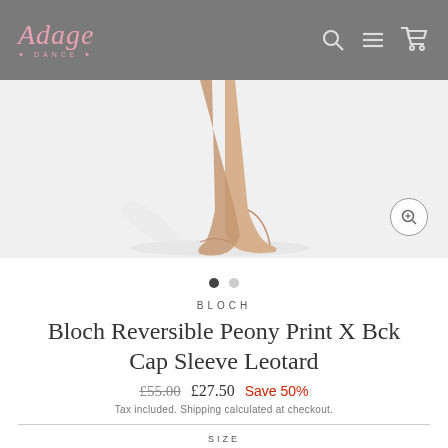Adage Dance
[Figure (photo): Ballet dancer's feet in pink pointe shoes on white background]
• •
BLOCH
Bloch Reversible Peony Print X Bck Cap Sleeve Leotard
£55.00  £27.50  Save 50%
Tax included. Shipping calculated at checkout.
SIZE